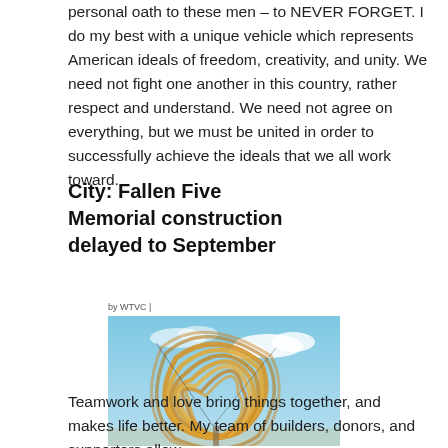personal oath to these men – to NEVER FORGET. I do my best with a unique vehicle which represents American ideals of freedom, creativity, and unity. We need not fight one another in this country, rather respect and understand. We need not agree on everything, but we must be united in order to successfully achieve the ideals that we all work toward.
City: Fallen Five Memorial construction delayed to September
by WTVC |
[Figure (photo): A large swirling golden/yellow abstract sculpture made of curved wooden or metal strips, photographed against a blue sky with white clouds.]
Teamwork and love bring things together, and makes life better. My team of builders, donors, and supporters allow